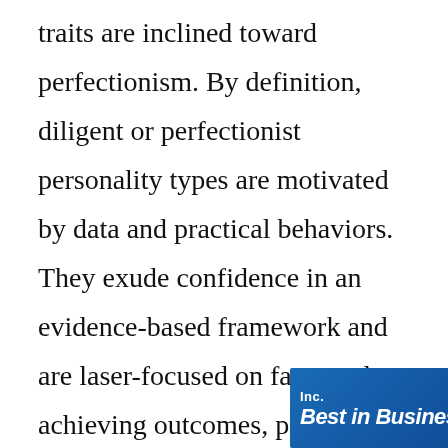traits are inclined toward perfectionism. By definition, diligent or perfectionist personality types are motivated by data and practical behaviors. They exude confidence in an evidence-based framework and are laser-focused on facts and achieving outcomes, preferring to get to the point of any conversation quickly. These particular skills are often advantageous to any organization when balanced with a healthy com
[Figure (other): Inc. Best in Business advertisement banner with blue gradient background, showing 'Inc.' logo, 'Deadline: 9/1' text, 'Best in Business' title in bold white italic, and 'Apply Now' button]